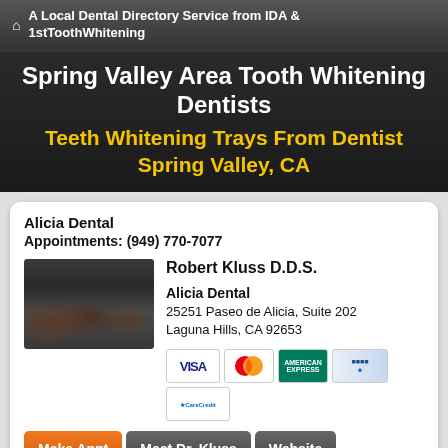A Local Dental Directory Service from IDA & 1stToothWhitening
Spring Valley Area Tooth Whitening Dentists
Teeth Whitening Trays From Dentist Spring Valley, CA
Alicia Dental
Appointments: (949) 770-7077
[Figure (photo): Group photo of dental office staff in dark uniforms seated and standing]
Robert Kluss D.D.S.
Alicia Dental
25251 Paseo de Alicia, Suite 202
Laguna Hills, CA 92653
[Figure (infographic): Payment method icons: VISA, MasterCard, American Express, a blue card, and CareCredit]
Make Appt   Meet Dr. Kluss   Website
more info ...